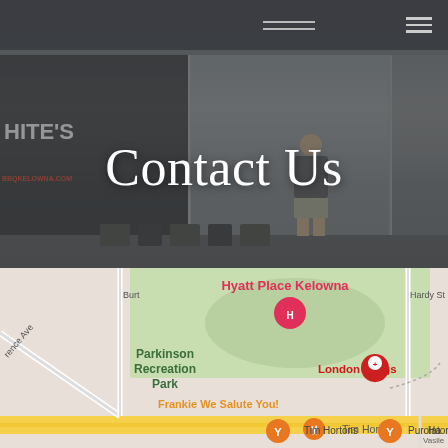[Figure (photo): Hero image of a BBQ/fireplace store storefront with a person standing in front, overlaid with semi-transparent dark filter. Store sign reads 'HITE'S' and 'BBQKELOWNA.COM'. Navigation bar at top with logo lines and hamburger menu.]
Contact Us
[Figure (map): Google Maps screenshot showing Kelowna area with landmarks: Hyatt Place Kelowna (pink marker), London Drugs (red marker), Parkinson Recreation Park, Frankie We Salute You! (orange marker), Tim Hortons (orange marker), Purolator (blue marker). Streets visible: Lawrence Ave, Burton, Ufton Ct, Hardy St, Vasile. Yellow highway road visible.]